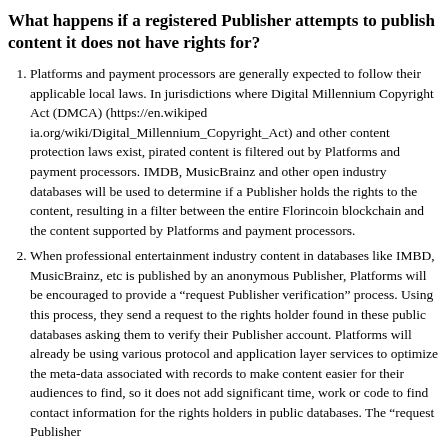What happens if a registered Publisher attempts to publish content it does not have rights for?
Platforms and payment processors are generally expected to follow their applicable local laws. In jurisdictions where Digital Millennium Copyright Act (DMCA) (https://en.wikipedia.org/wiki/Digital_Millennium_Copyright_Act) and other content protection laws exist, pirated content is filtered out by Platforms and payment processors. IMDB, MusicBrainz and other open industry databases will be used to determine if a Publisher holds the rights to the content, resulting in a filter between the entire Florincoin blockchain and the content supported by Platforms and payment processors.
When professional entertainment industry content in databases like IMBD, MusicBrainz, etc is published by an anonymous Publisher, Platforms will be encouraged to provide a "request Publisher verification" process. Using this process, they send a request to the rights holder found in these public databases asking them to verify their Publisher account. Platforms will already be using various protocol and application layer services to optimize the meta-data associated with records to make content easier for their audiences to find, so it does not add significant time, work or code to find contact information for the rights holders in public databases. The "request Publisher verification" process will prompt rights holders to claim and verify their Publisher account.